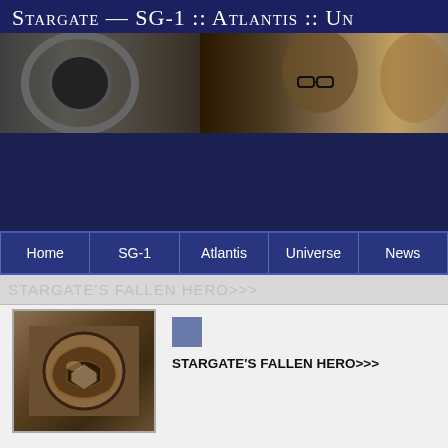Stargate — SG-1 :: Atlantis :: Un
[Figure (photo): Header photo strip showing close-up faces of Stargate actors against dark background]
[Figure (other): Dark navy blue banner/advertisement area]
Home | SG-1 | Atlantis | Universe | News
STARGATE'S FALLEN HERO>>>
[Figure (photo): Thumbnail image of a Stargate device/artifact with metallic appearance]
STARGATE'S FALLEN HERO>>>
Stargate SG-1 star Richard Dean Anderson disccuses the death of adventure Heroes, written by Executive Producer Robert C. Coop... secret.
Writer Robert Cooper told CFQ magazine [Aug/Sep 03], "I wrote that I think we ultimately expect to be very significant to the fans. the SGC to do a sort of expose on what's been going on.  This is g